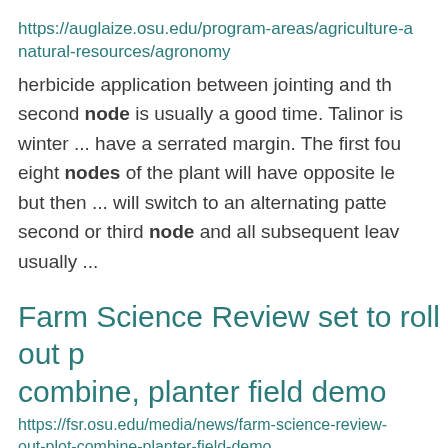https://auglaize.osu.edu/program-areas/agriculture-and-natural-resources/agronomy
herbicide application between jointing and the second node is usually a good time. Talinor is winter ... have a serrated margin. The first four to eight nodes of the plant will have opposite leaves but then ... will switch to an alternating pattern at the second or third node and all subsequent leaves are usually ...
Farm Science Review set to roll out plot combine, planter field demo
https://fsr.osu.edu/media/news/farm-science-review-set-to-roll-out-plot-combine-planter-field-demo
schedule can be found at